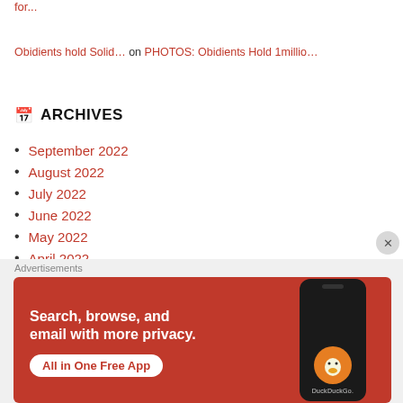for...
Obidients hold Solid... on PHOTOS: Obidients Hold 1millio...
ARCHIVES
September 2022
August 2022
July 2022
June 2022
May 2022
April 2022
March 2022
February 2022
[Figure (photo): DuckDuckGo advertisement banner: 'Search, browse, and email with more privacy. All in One Free App' with DuckDuckGo logo on a phone on orange/red background]